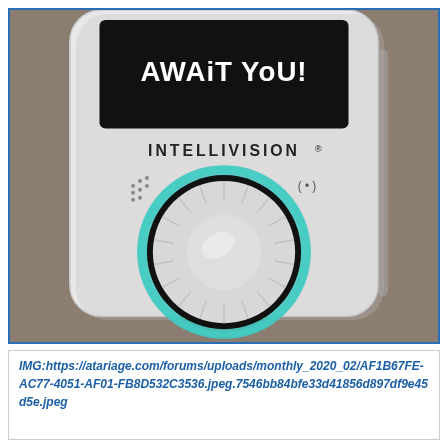[Figure (photo): Close-up photograph of an Intellivision game console controller/device. It is white/light colored with a black screen at the top showing text 'AWAIT YOU!' in bold. Below the screen is the 'INTELLIVISION' logo text. There is a circular disc controller in the center with a teal/cyan glowing ring around it. Small speaker dots and a symbol (•) are visible on either side above the disc. The device is resting on a brownish-gray surface.]
IMG:https://atariage.com/forums/uploads/monthly_2020_02/AF1B67FE-AC77-4051-AF01-FB8D532C3536.jpeg.7546bb84bfe33d41856d897df9e45d5e.jpeg